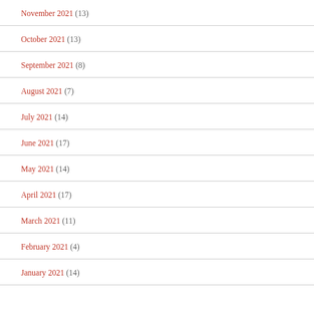November 2021 (13)
October 2021 (13)
September 2021 (8)
August 2021 (7)
July 2021 (14)
June 2021 (17)
May 2021 (14)
April 2021 (17)
March 2021 (11)
February 2021 (4)
January 2021 (14)